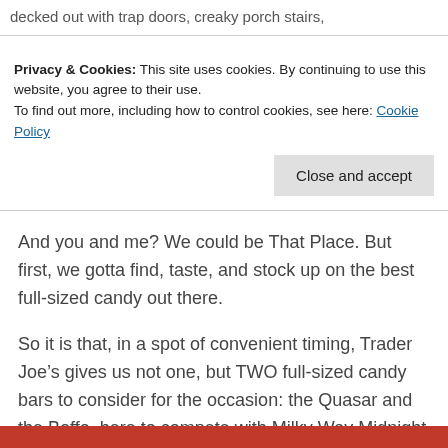decked out with trap doors, creaky porch stairs,
Privacy & Cookies: This site uses cookies. By continuing to use this website, you agree to their use.
To find out more, including how to control cookies, see here: Cookie Policy
Close and accept
And you and me? We could be That Place. But first, we gotta find, taste, and stock up on the best full-sized candy out there.
So it is that, in a spot of convenient timing, Trader Joe’s gives us not one, but TWO full-sized candy bars to consider for the occasion: the Quasar and the Boffo, here to compete with Milky Way Midnight and Snickers. The Milky Way-ish Quasar is the first runner up for consideration. Let’s see how it goes.
[Figure (photo): Bottom strip of a photo, appearing to show a red/food item at the very bottom edge of the page.]